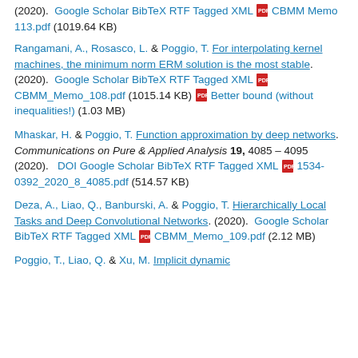(2020). Google Scholar BibTeX RTF Tagged XML [PDF] CBMM Memo 113.pdf (1019.64 KB)
Rangamani, A., Rosasco, L. & Poggio, T. For interpolating kernel machines, the minimum norm ERM solution is the most stable. (2020). Google Scholar BibTeX RTF Tagged XML [PDF] CBMM_Memo_108.pdf (1015.14 KB) [PDF] Better bound (without inequalities!) (1.03 MB)
Mhaskar, H. & Poggio, T. Function approximation by deep networks. Communications on Pure & Applied Analysis 19, 4085 - 4095 (2020). DOI Google Scholar BibTeX RTF Tagged XML [PDF] 1534-0392_2020_8_4085.pdf (514.57 KB)
Deza, A., Liao, Q., Banburski, A. & Poggio, T. Hierarchically Local Tasks and Deep Convolutional Networks. (2020). Google Scholar BibTeX RTF Tagged XML [PDF] CBMM_Memo_109.pdf (2.12 MB)
Poggio, T., Liao, Q. & Xu, M. Implicit dynamic...